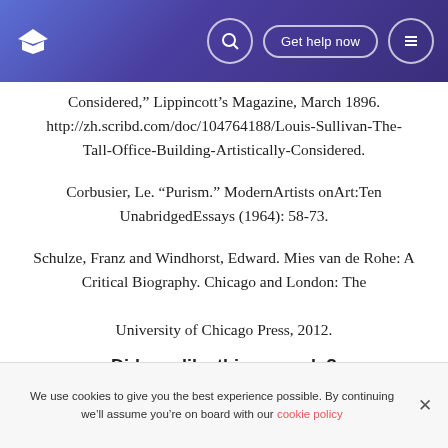Get help now
Considered,” Lippincott’s Magazine, March 1896. http://zh.scribd.com/doc/104764188/Louis-Sullivan-The-Tall-Office-Building-Artistically-Considered.
Corbusier, Le. “Purism.” ModernArtists onArt:Ten UnabridgedEssays (1964): 58-73.
Schulze, Franz and Windhorst, Edward. Mies van de Rohe: A Critical Biography. Chicago and London: The University of Chicago Press, 2012.
Did you like this example?
We use cookies to give you the best experience possible. By continuing we’ll assume you’re on board with our cookie policy